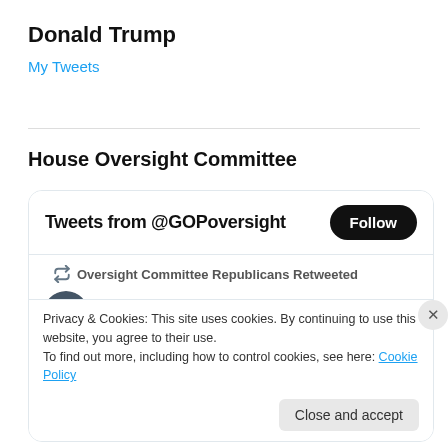Donald Trump
My Tweets
House Oversight Committee
[Figure (screenshot): Twitter widget showing tweets from @GOPoversight with a Follow button, a retweet by Oversight Committee Republicans of Rep. James C. with verified badge and handle @RepJames... posted 7h ago, with tweet text: Americans are rapidly losing faith in their]
Privacy & Cookies: This site uses cookies. By continuing to use this website, you agree to their use. To find out more, including how to control cookies, see here: Cookie Policy
Close and accept